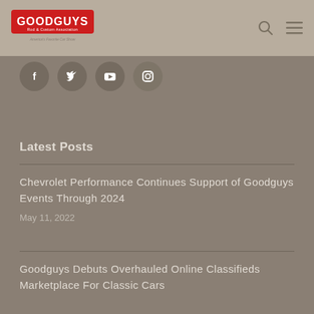Goodguys Rod & Custom Association – America's Favorite Car Show
[Figure (logo): Goodguys Rod & Custom Association logo with red stylized text and tagline 'America's Favorite Car Show']
[Figure (infographic): Social media icons row: Facebook, Twitter, YouTube, Instagram – circular grey buttons]
Latest Posts
Chevrolet Performance Continues Support of Goodguys Events Through 2024
May 11, 2022
Goodguys Debuts Overhauled Online Classifieds Marketplace For Classic Cars